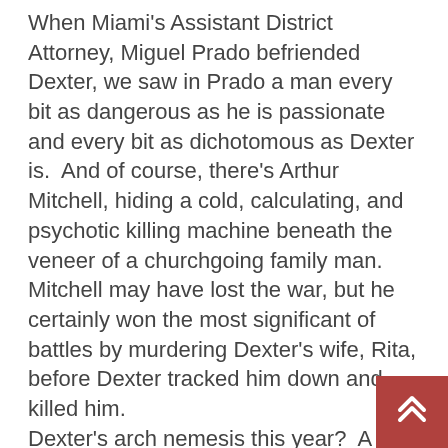When Miami's Assistant District Attorney, Miguel Prado befriended Dexter, we saw in Prado a man every bit as dangerous as he is passionate and every bit as dichotomous as Dexter is.  And of course, there's Arthur Mitchell, hiding a cold, calculating, and psychotic killing machine beneath the veneer of a churchgoing family man.  Mitchell may have lost the war, but he certainly won the most significant of battles by murdering Dexter's wife, Rita, before Dexter tracked him down and killed him.
Dexter's arch nemesis this year?  A handful of indecipherable losers who've been inexplicably raping and killing girls together since junior high school.  None of them seem threatening, or even believable.  All but one of them are one dimensional plot devices, while the group's ring leader, Jordan Chase – a self help guru, no less – is as petulant as Prado was volatile and is as